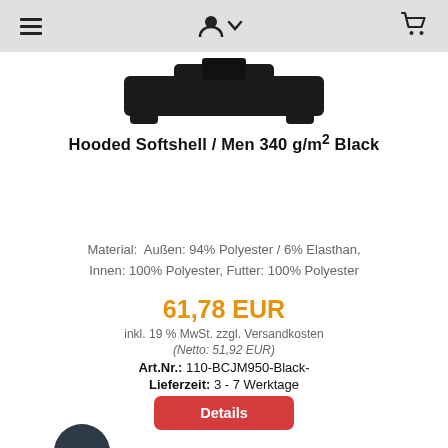☰ 👤↓ 🛒
[Figure (photo): Product image of Hooded Softshell jacket in black, showing the collar/hood area cropped at top of page]
Hooded Softshell / Men 340 g/m² Black
Material: Außen: 94% Polyester / 6% Elasthan, Innen: 100% Polyester, Futter: 100% Polyester
61,78 EUR
inkl. 19 % MwSt. zzgl. Versandkosten
(Netto: 51,92 EUR)
Art.Nr.: 110-BCJM950-Black-
Lieferzeit: 3 - 7 Werktage
Details
[Figure (photo): Dark navy/black circular color swatch at bottom left of page]